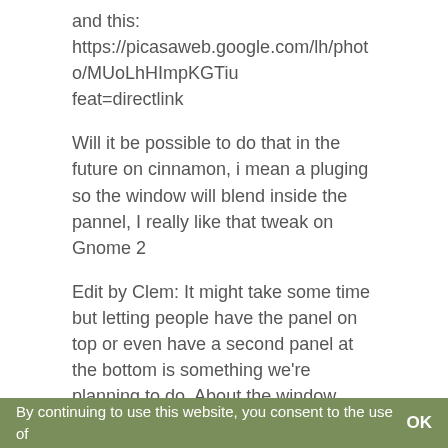and this:
https://picasaweb.google.com/lh/photo/MUoLhHImpKGTi…feat=directlink
Will it be possible to do that in the future on cinnamon, i mean a pluging so the window will blend inside the pannel, I really like that tweak on Gnome 2
Edit by Clem: It might take some time but letting people have the panel on top or even have a second panel at the bottom is something we're planning to do. About the window blending into the panel, I guess you'd need some kind of global menu applet and for maximized windows not to show a window bar… I'm not really sure.
Reply
By continuing to use this website, you consent to the use of    OK